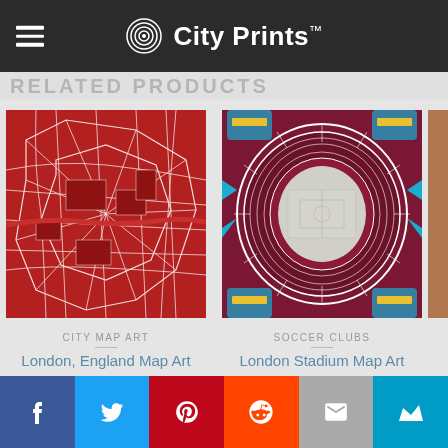City Prints™
RELATED PRODUCTS
[Figure (photo): London England red city map art print showing street network]
CITY MAP ART
London, England Map Art
$49.00 – $259.00
[Figure (illustration): London Stadium aerial map art print in maroon, white, blue and gold colors]
SOCCER CLUBS
London Stadium Map Art
$49.00 – $259.00
Share buttons: Facebook, Twitter, Pinterest, Reddit, Email, Kick